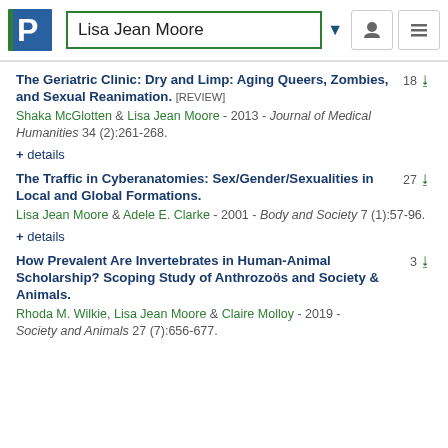Lisa Jean Moore
The Geriatric Clinic: Dry and Limp: Aging Queers, Zombies, and Sexual Reanimation. [REVIEW]
Shaka McGlotten & Lisa Jean Moore - 2013 - Journal of Medical Humanities 34 (2):261-268.
+ details
The Traffic in Cyberanatomies: Sex/Gender/Sexualities in Local and Global Formations.
Lisa Jean Moore & Adele E. Clarke - 2001 - Body and Society 7 (1):57-96.
+ details
How Prevalent Are Invertebrates in Human-Animal Scholarship? Scoping Study of Anthrozoös and Society & Animals.
Rhoda M. Wilkie, Lisa Jean Moore & Claire Molloy - 2019 - Society and Animals 27 (7):656-677.